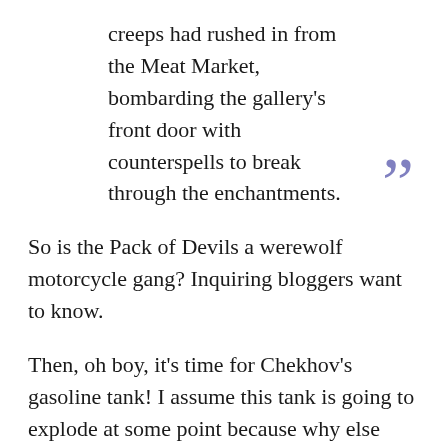creeps had rushed in from the Meat Market, bombarding the gallery's front door with counterspells to break through the enchantments.
So is the Pack of Devils a werewolf motorcycle gang? Inquiring bloggers want to know.
Then, oh boy, it's time for Chekhov's gasoline tank! I assume this tank is going to explode at some point because why else would Maas suddenly veer into tank exposition land? Even so, does this really need to be in chapter 1? Will it explode in the very next scene?